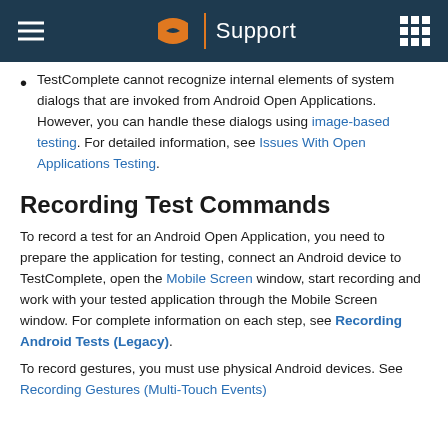Support
TestComplete cannot recognize internal elements of system dialogs that are invoked from Android Open Applications. However, you can handle these dialogs using image-based testing. For detailed information, see Issues With Open Applications Testing.
Recording Test Commands
To record a test for an Android Open Application, you need to prepare the application for testing, connect an Android device to TestComplete, open the Mobile Screen window, start recording and work with your tested application through the Mobile Screen window. For complete information on each step, see Recording Android Tests (Legacy).
To record gestures, you must use physical Android devices. See Recording Gestures (Multi-Touch Events)...